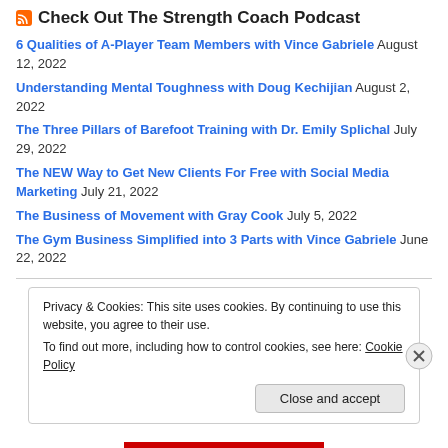Check Out The Strength Coach Podcast
6 Qualities of A-Player Team Members with Vince Gabriele August 12, 2022
Understanding Mental Toughness with Doug Kechijian August 2, 2022
The Three Pillars of Barefoot Training with Dr. Emily Splichal July 29, 2022
The NEW Way to Get New Clients For Free with Social Media Marketing July 21, 2022
The Business of Movement with Gray Cook July 5, 2022
The Gym Business Simplified into 3 Parts with Vince Gabriele June 22, 2022
Privacy & Cookies: This site uses cookies. By continuing to use this website, you agree to their use. To find out more, including how to control cookies, see here: Cookie Policy